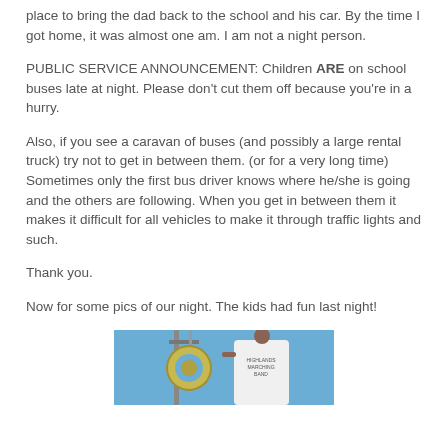place to bring the dad back to the school and his car. By the time I got home, it was almost one am. I am not a night person.
PUBLIC SERVICE ANNOUNCEMENT: Children ARE on school buses late at night. Please don't cut them off because you're in a hurry.
Also, if you see a caravan of buses (and possibly a large rental truck) try not to get in between them. (or for a very long time) Sometimes only the first bus driver knows where he/she is going and the others are following. When you get in between them it makes it difficult for all vehicles to make it through traffic lights and such.
Thank you.
Now for some pics of our night. The kids had fun last night!
[Figure (photo): Photo of a marching band member in a white t-shirt holding an instrument (tuba/sousaphone), visible against a blue sky background with metal poles/equipment.]